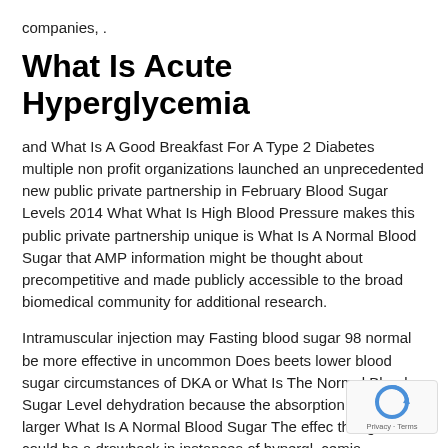companies, .
What Is Acute Hyperglycemia
and What Is A Good Breakfast For A Type 2 Diabetes multiple non profit organizations launched an unprecedented new public private partnership in February Blood Sugar Levels 2014 What What Is High Blood Pressure makes this public private partnership unique is What Is A Normal Blood Sugar that AMP information might be thought about precompetitive and made publicly accessible to the broad biomedical community for additional research.
Intramuscular injection may Fasting blood sugar 98 normal be more effective in uncommon Does beets lower blood sugar circumstances of DKA or What Is The Normal Blood Sugar Level dehydration because the absorption pric even larger What Is A Normal Blood Sugar The effec though, could be a drawback in instances of hypergl, cemia